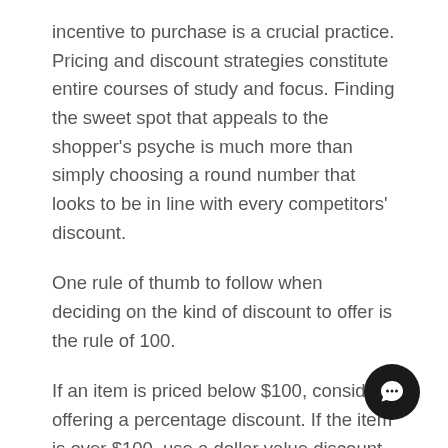incentive to purchase is a crucial practice. Pricing and discount strategies constitute entire courses of study and focus. Finding the sweet spot that appeals to the shopper's psyche is much more than simply choosing a round number that looks to be in line with every competitors' discount.
One rule of thumb to follow when deciding on the kind of discount to offer is the rule of 100.
If an item is priced below $100, consider offering a percentage discount. If the item is over $100, use a dollar value discount. $20 off on anything over $100 is less than a 20% off discount, but it crosses a psychological barrier: we all know the value of $20 and that appeal is powerful to consumers and doesn't break the bank for businesses in terms of a profit margin. Again, test this—every segment and demographic will respond to pricing strategies differently. The only mistake is assuming that they